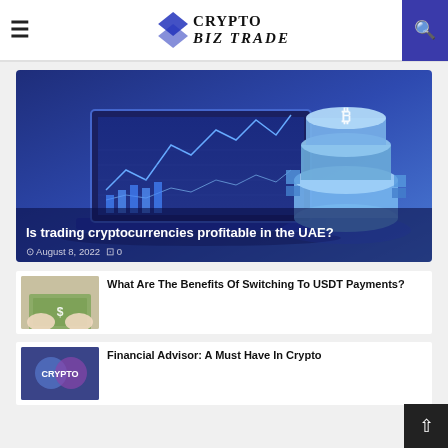CRYPTO BIZ TRADE
[Figure (screenshot): Website screenshot of Crypto Biz Trade blog showing a featured article about trading cryptocurrencies in the UAE, with a crypto trading illustration, and two smaller article previews below.]
Is trading cryptocurrencies profitable in the UAE?
August 8, 2022  0
What Are The Benefits Of Switching To USDT Payments?
Financial Advisor: A Must Have In Crypto